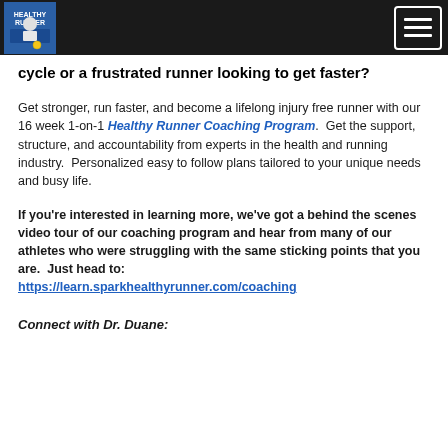Healthy Runner [logo] [menu button]
cycle or a frustrated runner looking to get faster?
Get stronger, run faster, and become a lifelong injury free runner with our 16 week 1-on-1 Healthy Runner Coaching Program.  Get the support, structure, and accountability from experts in the health and running industry.  Personalized easy to follow plans tailored to your unique needs and busy life.
If you're interested in learning more, we've got a behind the scenes video tour of our coaching program and hear from many of our athletes who were struggling with the same sticking points that you are.  Just head to: https://learn.sparkhealthyrunner.com/coaching
Connect with Dr. Duane: